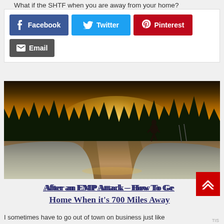What if the SHTF when you are away from your home?
[Figure (screenshot): Social share buttons: Facebook (blue), Twitter (cyan), Pinterest (red), Email (gray)]
[Figure (photo): Person walking alone on a snowy icy road at sunset with golden sky and tree silhouettes in background]
After an EMP Attack – How To Get Home When it's 700 Miles Away
I sometimes have to go out of town on business just like